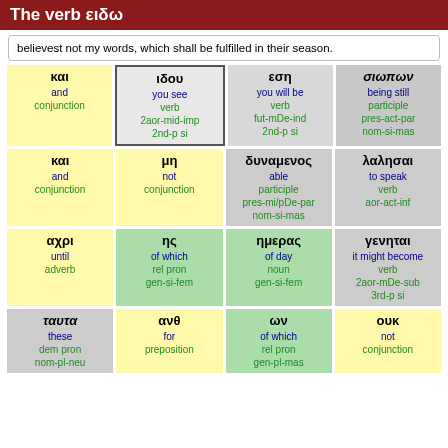The verb ειδω
believest not my words, which shall be fulfilled in their season.
| και
and
conjunction | ιδου
you see
verb
2aor-mid-imp
2nd-p si | εση
you will be
verb
fut-mDe-ind
2nd-p si | σιωπων
being still
participle
pres-act-par
nom-si-mas |
| και
and
conjunction | μη
not
conjunction | δυναμενος
able
participle
pres-mi/pDe-par
nom-si-mas | λαλησαι
to speak
verb
aor-act-inf |
| αχρι
until
adverb | ης
of which
rel pron
gen-si-fem | ημερας
of day
noun
gen-si-fem | γενηται
it might become
verb
2aor-mDe-sub
3rd-p si |
| ταυτα
these
dem pron
nom-pl-neu | ανθ
for
preposition | ων
of which
rel pron
gen-pl-mas | ουκ
not
conjunction |